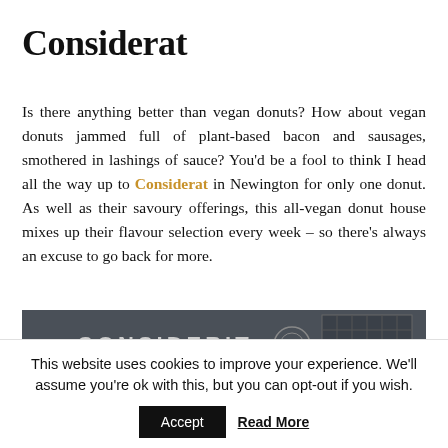Considerat
Is there anything better than vegan donuts? How about vegan donuts jammed full of plant-based bacon and sausages, smothered in lashings of sauce? You'd be a fool to think I head all the way up to Considerat in Newington for only one donut. As well as their savoury offerings, this all-vegan donut house mixes up their flavour selection every week – so there's always an excuse to go back for more.
[Figure (photo): Exterior storefront photo showing a dark-coloured shopfront with 'CONSIDERIT' signage and a lattice/grid window panel to the right, photographed at street level.]
This website uses cookies to improve your experience. We'll assume you're ok with this, but you can opt-out if you wish.
Accept Read More